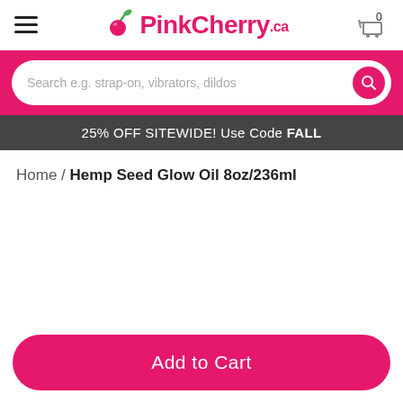PinkCherry.ca
Search e.g. strap-on, vibrators, dildos
25% OFF SITEWIDE! Use Code FALL
Home / Hemp Seed Glow Oil 8oz/236ml
Add to Cart